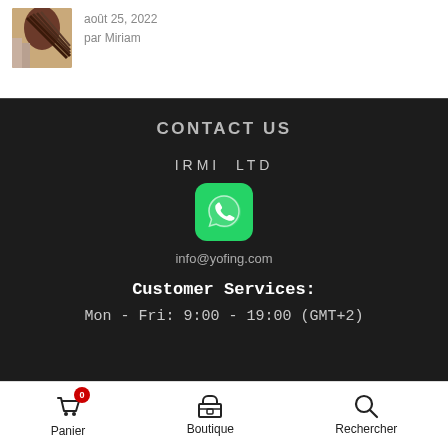[Figure (photo): Hair styling photo - person having hair combed]
août 25, 2022
par Miriam
CONTACT US
IRMI  LTD
[Figure (logo): WhatsApp green icon with phone handset]
info@yofing.com
Customer Services:
Mon - Fri: 9:00 - 19:00 (GMT+2)
Panier  Boutique  Rechercher